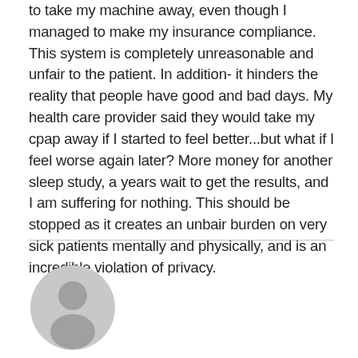to take my machine away, even though I managed to make my insurance compliance. This system is completely unreasonable and unfair to the patient. In addition- it hinders the reality that people have good and bad days. My health care provider said they would take my cpap away if I started to feel better...but what if I feel worse again later? More money for another sleep study, a years wait to get the results, and I am suffering for nothing. This should be stopped as it creates an unbair burden on very sick patients mentally and physically, and is an incredible violation of privacy.
[Figure (illustration): Generic user avatar icon: grey circle background with a silhouette of a person (head and shoulders)]